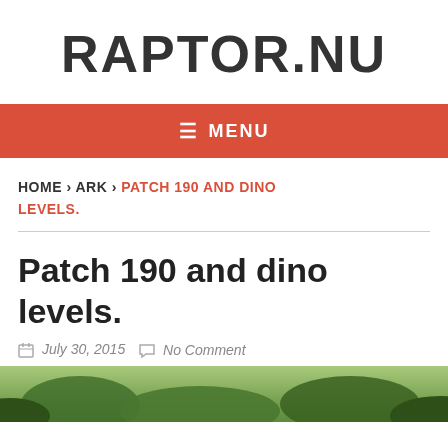RAPTOR.NU
≡ MENU
HOME › ARK › PATCH 190 AND DINO LEVELS.
Patch 190 and dino levels.
July 30, 2015   No Comment
[Figure (photo): Green vegetation/dinosaur scene photo at bottom of page]